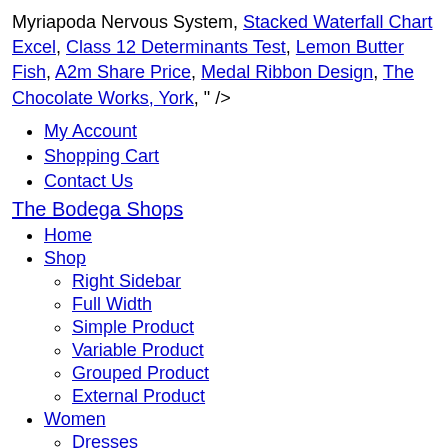Myriapoda Nervous System, Stacked Waterfall Chart Excel, Class 12 Determinants Test, Lemon Butter Fish, A2m Share Price, Medal Ribbon Design, The Chocolate Works, York, " />
My Account
Shopping Cart
Contact Us
The Bodega Shops
Home
Shop
Right Sidebar
Full Width
Simple Product
Variable Product
Grouped Product
External Product
Women
Dresses
Jackets
Tops
Shorts
Jumper
Coats